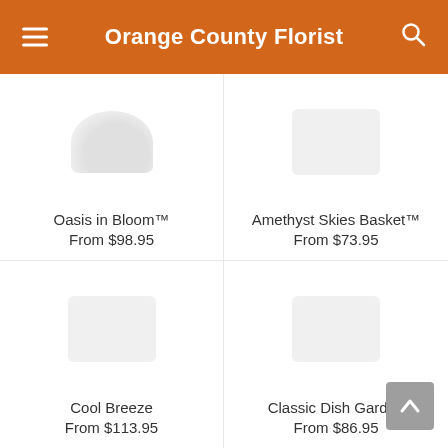Orange County Florist
Oasis in Bloom™
From $98.95
Amethyst Skies Basket™
From $73.95
Cool Breeze
From $113.95
Classic Dish Garden
From $86.95